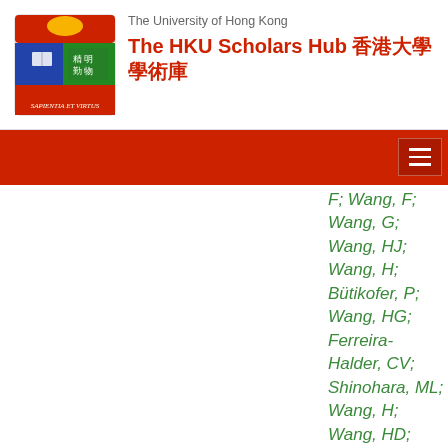The University of Hong Kong — The HKU Scholars Hub 香港大學學術庫
F; Wang, F; Wang, G; Wang, HJ; Wang, H; Bütikofer, P; Wang, HG; Ferreira-Halder, CV; Shinohara, ML; Wang, H; Wang, HD; Lam, T; Wang, J; Wang, J; Wang, M; Wang, MQ; Wang, PY; Wang, P; Fesus, L; Wang, RC; Kretz-Remy, C; Caberlotto, L; Wang, S; Wang,